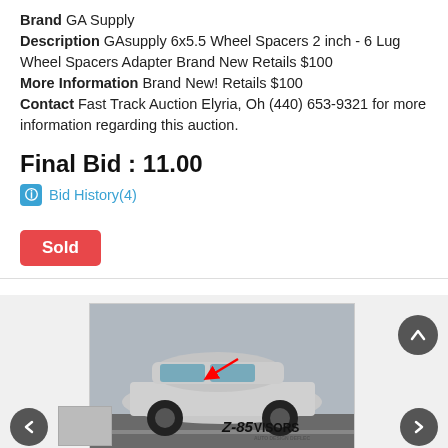Brand GA Supply
Description GAsupply 6x5.5 Wheel Spacers 2 inch - 6 Lug Wheel Spacers Adapter Brand New Retails $100
More Information Brand New! Retails $100
Contact Fast Track Auction Elyria, Oh (440) 653-9321 for more information regarding this auction.
Final Bid : 11.00
Bid History(4)
Sold
[Figure (photo): Silver Honda Civic sedan lowered with wide stance on dark wheels, parked/driving on a road, with a red arrow pointing to the window visor area. Thumbnail images visible below.]